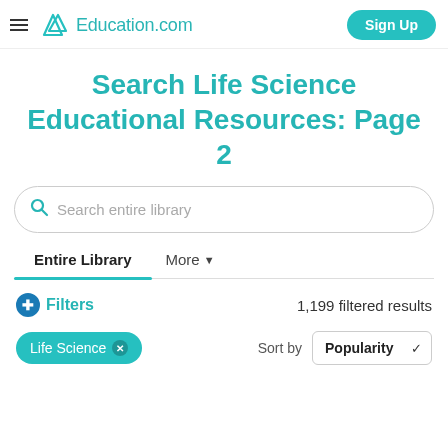Education.com — Sign Up
Search Life Science Educational Resources: Page 2
Search entire library
Entire Library   More
Filters   1,199 filtered results
Life Science ✕   Sort by Popularity